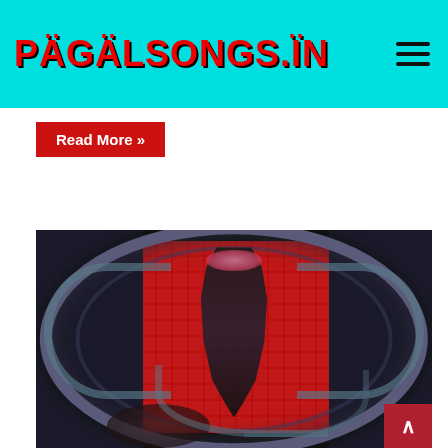PÄGÄLSONGS.ÏN
Read More »
[Figure (illustration): Science fiction illustration showing a female warrior figure in armor suspended within a large circular mechanical ring structure, with a red grid background panel, metallic cables and tentacle-like appendages, dark atmospheric sci-fi setting]